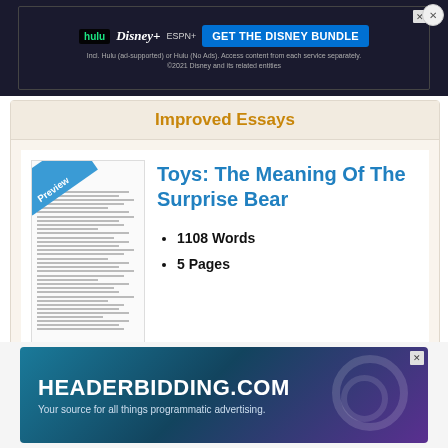[Figure (screenshot): Top advertisement banner for Disney Bundle featuring Hulu, Disney+, ESPN+ logos and a 'GET THE DISNEY BUNDLE' button with small print about services]
Improved Essays
[Figure (illustration): Preview thumbnail of an essay document with a blue 'Preview' diagonal banner in the top-left corner]
Toys: The Meaning Of The Surprise Bear
1108 Words
5 Pages
A toy. Whose brand is most commonly found at Toys R-US. However, this toy is different, this toy stands at around six inches tall. Its color, also not your typical
[Figure (screenshot): Bottom advertisement banner for HEADERBIDDING.COM - Your source for all things programmatic advertising, with teal/purple gradient background]